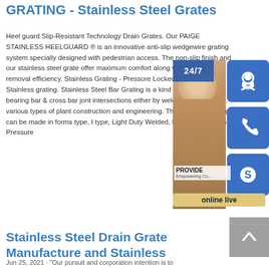GRATING - Stainless Steel Grates
Heel guard Slip-Resistant Technology Drain Grates. Our PAIGE STAINLESS HEELGUARD ® is an innovative anti-slip wedgewire grating system specially designed with pedestrian access. The non-slip finish and our stainless steel grate offer maximum comfort along with high water removal efficiency. Stainless Grating - Pressure Locked, Welded Stainless grating. Stainless Steel Bar Grating is a kind structure with its bearing bar & cross bar jont intersections either by welding or by locking. various types of plant construction and engineering. The stainless grating can be made in forms type, I type, Light Duty Welded, Heavy Duty Mesh, Pressure
[Figure (photo): Customer support widget showing a woman with headset, 24/7 label, phone icon, Skype icon, PROVIDE Empowering Customers text, and online live button]
Stainless Steel Drain Grate Manufacture and Stainless
Jun 25, 2021 · "Our pursuit and corporation intention is to ""Always satisfy our client requirements"". We continue to